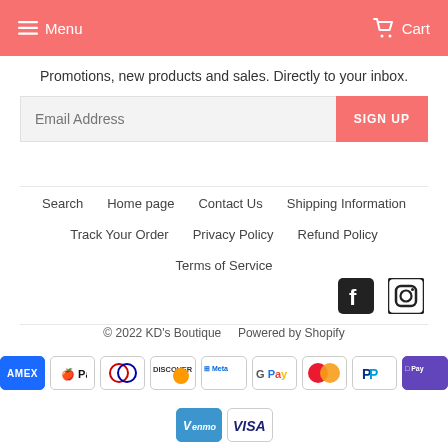Menu  Cart
Promotions, new products and sales. Directly to your inbox.
Email Address  SIGN UP
Search
Home page
Contact Us
Shipping Information
Track Your Order
Privacy Policy
Refund Policy
Terms of Service
[Figure (infographic): Facebook and Instagram social media icons]
© 2022 KD's Boutique  Powered by Shopify
[Figure (infographic): Payment method icons: American Express, Apple Pay, Diners Club, Discover, Meta Pay, Google Pay, Mastercard, PayPal, Shop Pay, Venmo, Visa]